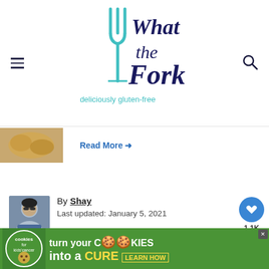[Figure (logo): What the Fork - deliciously gluten-free logo with teal fork icon and dark blue script text]
Read More →
[Figure (photo): Author photo of Shay, a woman with sunglasses]
By Shay
Last updated: January 5, 2021
1.1K
Chocolate, Desserts, Gluten-Free, Vegetarian
Home » Gluten Free Peanut Butter Chocolate Chip Cookies
WHAT'S NEXT → Gluten Free Christmas...
[Figure (photo): Chocolate chip cookies image bottom left]
[Figure (photo): Cookies image bottom right]
[Figure (infographic): Cookies for Kids Cancer green ad banner: turn your cookies into a CURE LEARN HOW]